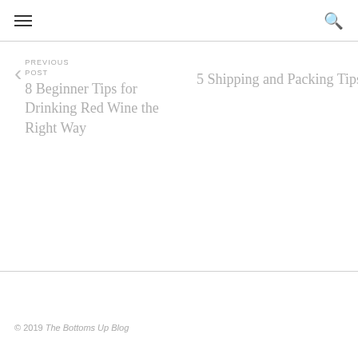≡ [hamburger menu] [search icon]
< PREVIOUS POST 8 Beginner Tips for Drinking Red Wine the Right Way
NEXT POST 5 Shipping and Packing Tips to Save Money >
© 2019 The Bottoms Up Blog